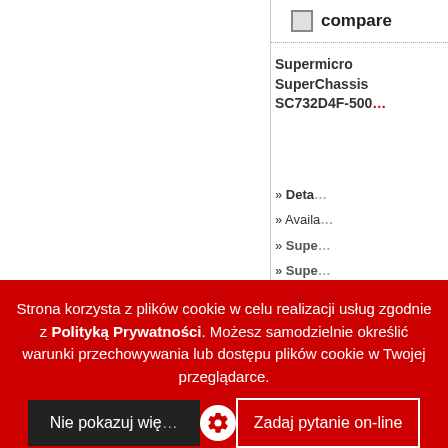compare
Supermicro SuperChassis SC732D4F-500B
» Details
» Availability
» Supermicro SuperChassis SC732D4F-500B
compare
Supermicro SuperChassis SC732D4F-865B
» Details
» Availability
» Supermicro SuperChassis SC732D4F-865B
Strona korzysta z plików cookie w celu realizacji usług zgodnie z Polityką Prywatności. Możesz samodzielnie określić warunki przechowywania lub dostępu plików cookie w Twojej przeglądarce.
Nie pokazuj więcej
Zadaj pytanie on-line